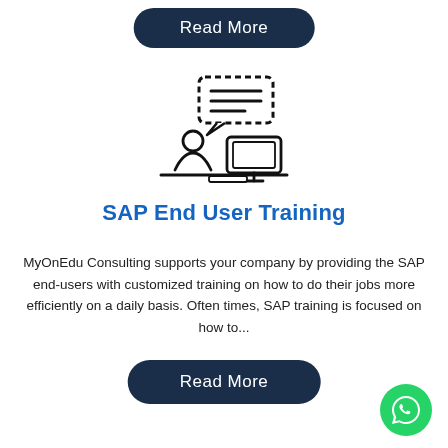Read More
[Figure (illustration): Line art icon of a person sitting at a desk with a computer monitor, with a speech/chat bubble above containing horizontal lines, representing online training or consultation.]
SAP End User Training
MyOnEdu Consulting supports your company by providing the SAP end-users with customized training on how to do their jobs more efficiently on a daily basis. Often times, SAP training is focused on how to...
Read More